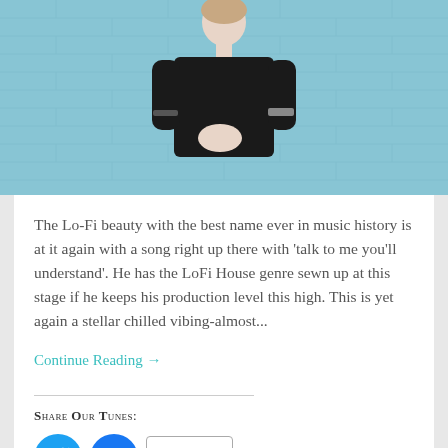[Figure (photo): Person in black outfit standing in front of a light blue brick wall, upper body visible, hands clasped in front.]
The Lo-Fi beauty with the best name ever in music history is at it again with a song right up there with 'talk to me you’ll understand'. He has the LoFi House genre sewn up at this stage if he keeps his production level this high. This is yet again a stellar chilled vibing-almost...
Continue Reading →
Share Our Tunes:
[Figure (infographic): Social sharing buttons: Twitter (blue circle with bird icon), Facebook (blue circle with f icon), and a More button with share icon.]
Like This:
[Figure (infographic): Like button with star icon, followed by three small avatar thumbnail images and the letter M.]